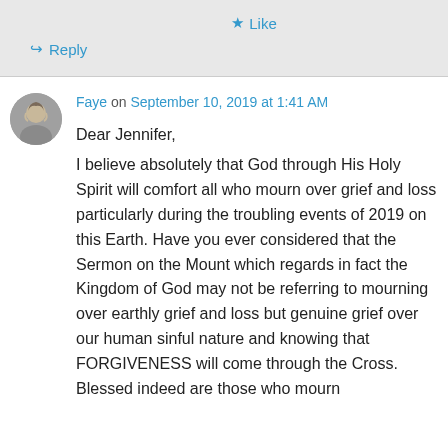★ Like
↪ Reply
Faye on September 10, 2019 at 1:41 AM
Dear Jennifer,
I believe absolutely that God through His Holy Spirit will comfort all who mourn over grief and loss particularly during the troubling events of 2019 on this Earth. Have you ever considered that the Sermon on the Mount which regards in fact the Kingdom of God may not be referring to mourning over earthly grief and loss but genuine grief over our human sinful nature and knowing that FORGIVENESS will come through the Cross. Blessed indeed are those who mourn